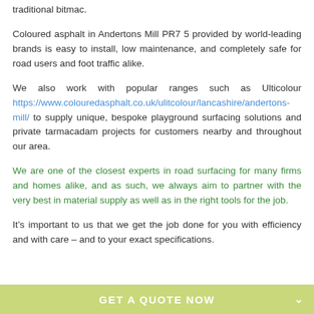traditional bitmac.
Coloured asphalt in Andertons Mill PR7 5 provided by world-leading brands is easy to install, low maintenance, and completely safe for road users and foot traffic alike.
We also work with popular ranges such as Ulticolour https://www.colouredasphalt.co.uk/ulitcolour/lancashire/andertons-mill/ to supply unique, bespoke playground surfacing solutions and private tarmacadam projects for customers nearby and throughout our area.
We are one of the closest experts in road surfacing for many firms and homes alike, and as such, we always aim to partner with the very best in material supply as well as in the right tools for the job.
It’s important to us that we get the job done for you with efficiency and with care – and to your exact specifications.
GET A QUOTE NOW